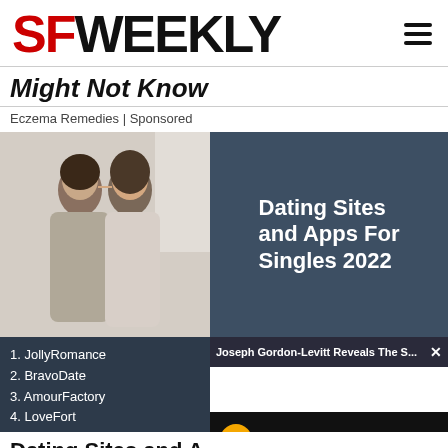SF WEEKLY
Might Not Know
Eczema Remedies | Sponsored
[Figure (illustration): Dating ad showing a couple forehead to forehead on left, dark blue panel on right with text 'Dating Sites and Apps For Singles 2022', and a list below: 1. JollyRomance 2. BravoDate 3. AmourFactory 4. LoveFort]
Dating Sites and A
Looking for an aweso